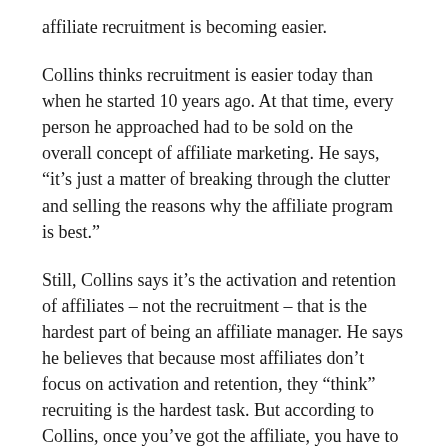affiliate recruitment is becoming easier.
Collins thinks recruitment is easier today than when he started 10 years ago. At that time, every person he approached had to be sold on the overall concept of affiliate marketing. He says, “it’s just a matter of breaking through the clutter and selling the reasons why the affiliate program is best.”
Still, Collins says it’s the activation and retention of affiliates – not the recruitment – that is the hardest part of being an affiliate manager. He says he believes that because most affiliates don’t focus on activation and retention, they “think” recruiting is the hardest task. But according to Collins, once you’ve got the affiliate, you have to know how to keep them and ensure they are productive.